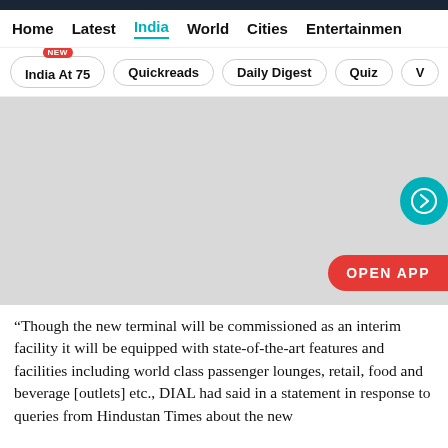Home  Latest  India  World  Cities  Entertainment
India At 75  Quickreads  Daily Digest  Quiz  V
[Figure (screenshot): Gray placeholder image area with a teal circular arrow button on the right and an orange-red 'OPEN APP' button at the bottom right]
“Though the new terminal will be commissioned as an interim facility it will be equipped with state-of-the-art features and facilities including world class passenger lounges, retail, food and beverage [outlets] etc., DIAL had said in a statement in response to queries from Hindustan Times about the new